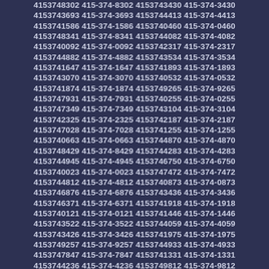4153748302 415-374-8302 4153743430 415-374-3430
4153743693 415-374-3693 4153744413 415-374-4413
4153741586 415-374-1586 4153740460 415-374-0460
4153748341 415-374-8341 4153744082 415-374-4082
4153740092 415-374-0092 4153742317 415-374-2317
4153744882 415-374-4882 4153743534 415-374-3534
4153741647 415-374-1647 4153741893 415-374-1893
4153743070 415-374-3070 4153740532 415-374-0532
4153741874 415-374-1874 4153749265 415-374-9265
4153747931 415-374-7931 4153740255 415-374-0255
4153747349 415-374-7349 4153743104 415-374-3104
4153742325 415-374-2325 4153742187 415-374-2187
4153747028 415-374-7028 4153741255 415-374-1255
4153740663 415-374-0663 4153744870 415-374-4870
4153748429 415-374-8429 4153744283 415-374-4283
4153744945 415-374-4945 4153746750 415-374-6750
4153740023 415-374-0023 4153747472 415-374-7472
4153744812 415-374-4812 4153740873 415-374-0873
4153746876 415-374-6876 4153743436 415-374-3436
4153746371 415-374-6371 4153741918 415-374-1918
4153740121 415-374-0121 4153741446 415-374-1446
4153743522 415-374-3522 4153744059 415-374-4059
4153743426 415-374-3426 4153741975 415-374-1975
4153749257 415-374-9257 4153744933 415-374-4933
4153747847 415-374-7847 4153741331 415-374-1331
4153744236 415-374-4236 4153749812 415-374-9812
4153740829 415-374-0829 4153749756 415-374-9756
4153746236 415-374-6236 4153742374 415-374-2374
4153745785 415-374-5785 4153743138 415-374-3138